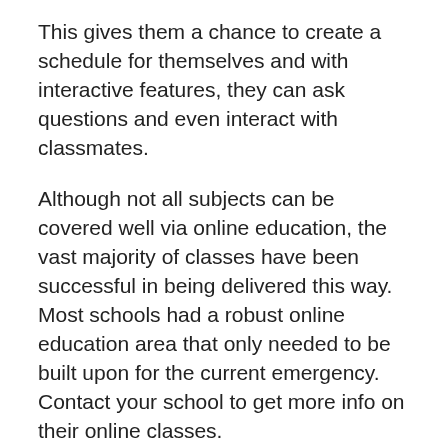This gives them a chance to create a schedule for themselves and with interactive features, they can ask questions and even interact with classmates.
Although not all subjects can be covered well via online education, the vast majority of classes have been successful in being delivered this way. Most schools had a robust online education area that only needed to be built upon for the current emergency. Contact your school to get more info on their online classes.
If students still can’t get used to the new system and they’re not sure how it works, they should go online to their school website to get a full list of classes available. Some of these classes will count as full credit toward a degree. This is motivating for students who struggle with discipline and who still haven’t got used to the ‘new normal’. For any classes not